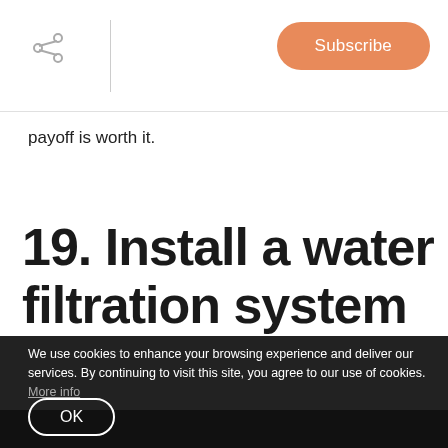Subscribe
payoff is worth it.
19. Install a water filtration system
We use cookies to enhance your browsing experience and deliver our services. By continuing to visit this site, you agree to our use of cookies. More info
OK